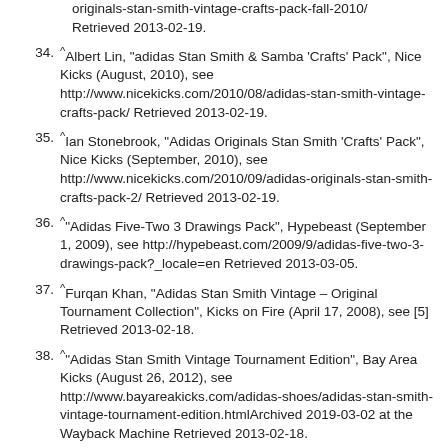originals-stan-smith-vintage-crafts-pack-fall-2010/ Retrieved 2013-02-19.
34. ^Albert Lin, "adidas Stan Smith & Samba 'Crafts' Pack", Nice Kicks (August, 2010), see http://www.nicekicks.com/2010/08/adidas-stan-smith-vintage-crafts-pack/ Retrieved 2013-02-19.
35. ^Ian Stonebrook, "Adidas Originals Stan Smith 'Crafts' Pack", Nice Kicks (September, 2010), see http://www.nicekicks.com/2010/09/adidas-originals-stan-smith-crafts-pack-2/ Retrieved 2013-02-19.
36. ^"Adidas Five-Two 3 Drawings Pack", Hypebeast (September 1, 2009), see http://hypebeast.com/2009/9/adidas-five-two-3-drawings-pack?_locale=en Retrieved 2013-03-05.
37. ^Furqan Khan, "Adidas Stan Smith Vintage – Original Tournament Collection", Kicks on Fire (April 17, 2008), see [5] Retrieved 2013-02-18.
38. ^"Adidas Stan Smith Vintage Tournament Edition", Bay Area Kicks (August 26, 2012), see http://www.bayareakicks.com/adidas-shoes/adidas-stan-smith-vintage-tournament-edition.htmlArchived 2019-03-02 at the Wayback Machine Retrieved 2013-02-18.
39. ^"Adidas Stan Smith Vintage Tournament Edition"